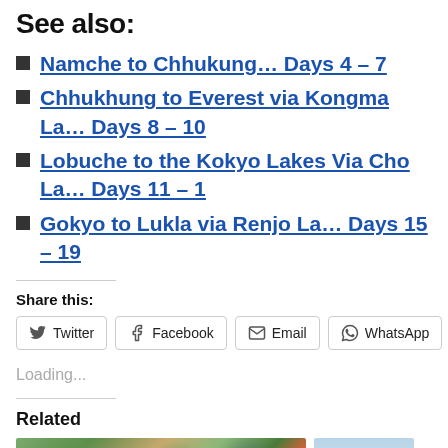See also:
Namche to Chhukung… Days 4 – 7
Chhukhung to Everest via Kongma La… Days 8 – 10
Lobuche to the Kokyo Lakes Via Cho La… Days 11 – 1
Gokyo to Lukla via Renjo La… Days 15 – 19
Share this:
Twitter  Facebook  Email  WhatsApp  Tumblr
Loading...
Related
[Figure (photo): Aerial satellite view of a town with buildings, roads, and green spaces]
[Figure (photo): Light blue sky or mountain background image]